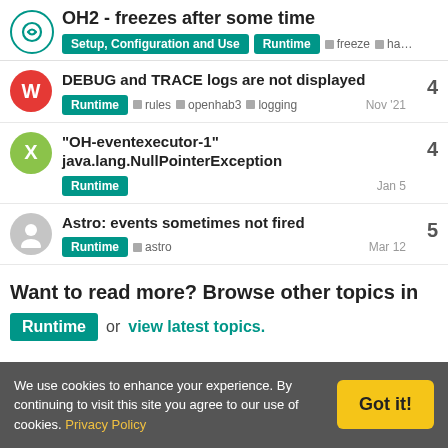OH2 - freezes after some time
DEBUG and TRACE logs are not displayed | Runtime, rules, openhab3, logging | Nov '21 | replies: 4
"OH-eventexecutor-1" java.lang.NullPointerException | Runtime | Jan 5 | replies: 4
Astro: events sometimes not fired | Runtime, astro | Mar 12 | replies: 5
Want to read more? Browse other topics in Runtime or view latest topics.
We use cookies to enhance your experience. By continuing to visit this site you agree to our use of cookies. Privacy Policy